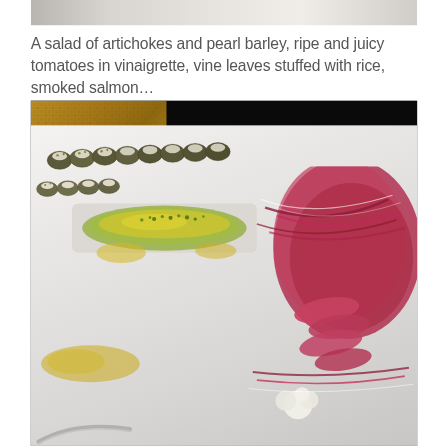[Figure (photo): Partial top photo showing food dishes — artichoke/barley salad and couscous on white plates, cropped at top of page]
A salad of artichokes and pearl barley, ripe and juicy tomatoes in vinaigrette, vine leaves stuffed with rice, smoked salmon...
[Figure (photo): Close-up food photography of a catering spread: vine leaves stuffed with cream filling arranged in rows, leeks or asparagus with yellow vinaigrette and green herbs, sliced pink meat with radicchio and cauliflower, waffle-textured pastries in background, served on white rectangular platters]